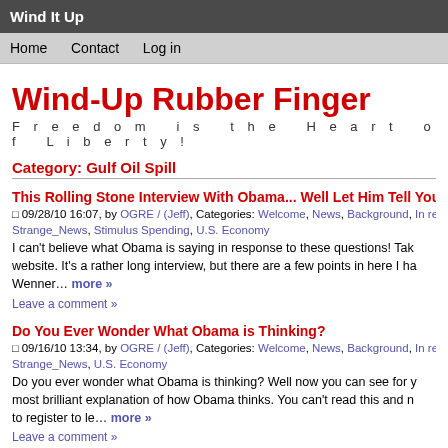Wind It Up
Home   Contact   Log in
Wind-Up Rubber Finger
Freedom is the Heart of Liberty!
Category: Gulf Oil Spill
This Rolling Stone Interview With Obama... Well Let Him Tell You...
09/28/10 16:07, by OGRE / (Jeff), Categories: Welcome, News, Background, In real life, On f... Strange_News, Stimulus Spending, U.S. Economy
I can't believe what Obama is saying in response to these questions! Tak... website. It's a rather long interview, but there are a few points in here I ha... Wenner… more »
Leave a comment »
Do You Ever Wonder What Obama is Thinking?
09/16/10 13:34, by OGRE / (Jeff), Categories: Welcome, News, Background, In real life, On f... Strange_News, U.S. Economy
Do you ever wonder what Obama is thinking? Well now you can see for y... most brilliant explanation of how Obama thinks. You can't read this and n... to register to le… more »
Leave a comment »